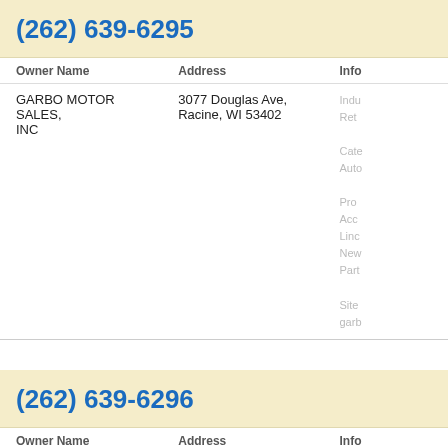(262) 639-6295
| Owner Name | Address | Info |
| --- | --- | --- |
| GARBO MOTOR SALES, INC | 3077 Douglas Ave, Racine, WI 53402 | Indu Ret
Cate Auto
Pro Acc Linc New Part
Site garb |
(262) 639-6296
| Owner Name | Address | Info |
| --- | --- | --- |
| Thomas Waldoch |  |  |
| Thomas Waldoch | Racine, WI |  |